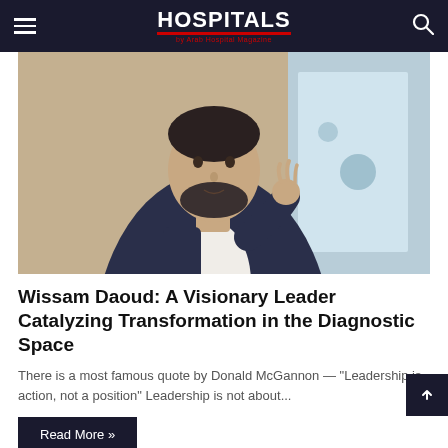HOSPITALS by Arab Hospital Magazine
[Figure (photo): Man in dark suit jacket speaking into a microphone at a conference or event, with a blurred banner display board in the background]
Wissam Daoud: A Visionary Leader Catalyzing Transformation in the Diagnostic Space
There is a most famous quote by Donald McGannon — "Leadership is action, not a position" Leadership is not about...
Read More »